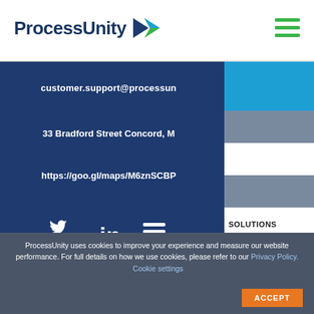ProcessUnity
customer.support@processunity
33 Bradford Street Concord, M
https://goo.gl/maps/M6znSCBP
[Figure (logo): Twitter, LinkedIn, and another social media icon in white on dark blue background]
SOLUTIONS
ProcessUnity uses cookies to improve your experience and measure our website performance. For full details on how we use cookies, please refer to our Privacy Policy. Cookie settings ACCEPT